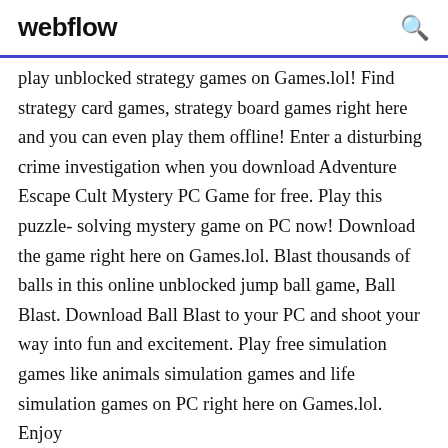webflow
play unblocked strategy games on Games.lol! Find strategy card games, strategy board games right here and you can even play them offline! Enter a disturbing crime investigation when you download Adventure Escape Cult Mystery PC Game for free. Play this puzzle-solving mystery game on PC now! Download the game right here on Games.lol. Blast thousands of balls in this online unblocked jump ball game, Ball Blast. Download Ball Blast to your PC and shoot your way into fun and excitement. Play free simulation games like animals simulation games and life simulation games on PC right here on Games.lol. Enjoy